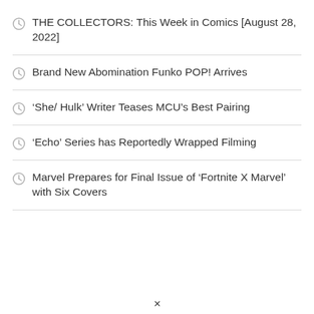THE COLLECTORS: This Week in Comics [August 28, 2022]
Brand New Abomination Funko POP! Arrives
‘She/ Hulk’ Writer Teases MCU’s Best Pairing
‘Echo’ Series has Reportedly Wrapped Filming
Marvel Prepares for Final Issue of ‘Fortnite X Marvel’ with Six Covers
✕